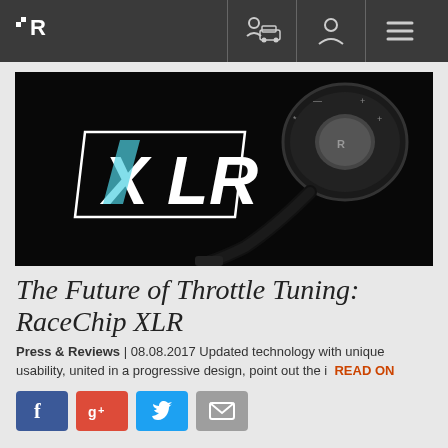RaceChip navigation bar with logo and icons
[Figure (photo): Dark hero image showing the RaceChip XLR product — a rotary dial tuning device with cable, alongside the XLR logo in white and cyan on a black background]
The Future of Throttle Tuning: RaceChip XLR
Press & Reviews | 08.08.2017 Updated technology with unique usability, united in a progressive design, point out the i READ ON
[Figure (infographic): Social sharing buttons row: Facebook (blue), Google+ (red), Twitter (cyan), Email (grey)]